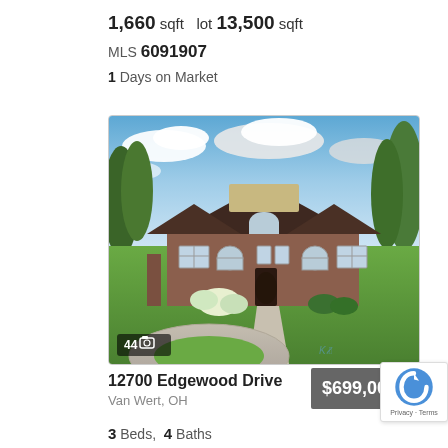1,660 sqft  lot 13,500 sqft
MLS 6091907
1 Days on Market
[Figure (photo): Exterior photo of a single-story brick ranch house with dark roof, white trim, arched windows, and a circular driveway on a green lawn. Badge shows 44 photos.]
12700 Edgewood Drive
Van Wert, OH
$699,00
3 Beds,  4 Baths